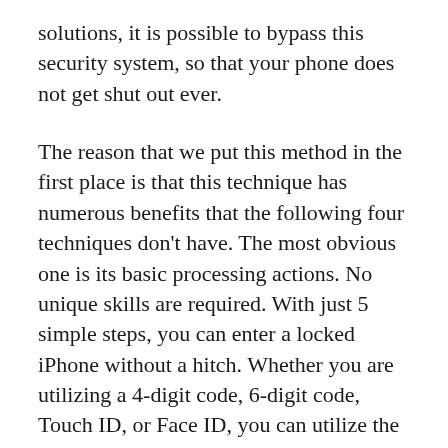solutions, it is possible to bypass this security system, so that your phone does not get shut out ever.
The reason that we put this method in the first place is that this technique has numerous benefits that the following four techniques don't have. The most obvious one is its basic processing actions. No unique skills are required. With just 5 simple steps, you can enter a locked iPhone without a hitch. Whether you are utilizing a 4-digit code, 6-digit code, Touch ID, or Face ID, you can utilize the iPhone unlock software – EaseUS MobiUnlock to unlock the iPhone without a passcode.
As a security function, Apple disables an iOS device after a few incorrect passcode entries.